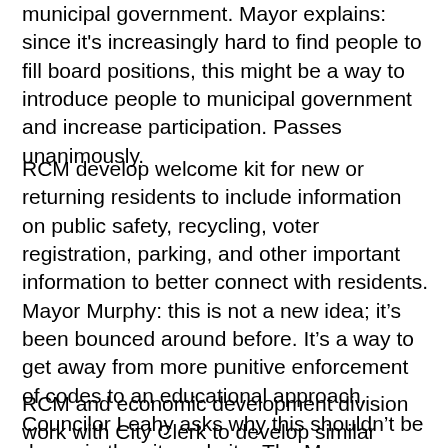municipal government. Mayor explains: since it's increasingly hard to find people to fill board positions, this might be a way to introduce people to municipal government and increase participation. Passes unanimously.
RCM develop welcome kit for new or returning residents to include information on public safety, recycling, voter registration, parking, and other important information to better connect with residents. Mayor Murphy: this is not a new idea; it's been bounced around before. It's a way to get away from more punitive enforcement of codes to an educational approach. Councilor Leahy asks why this shouldn't be done via the city website. The Mayor says this is a more proactive approach that is more likely to catch people's attention when they first move in. Passes unanimously.
RCM and economic development division work with City Clerk to develop similar welcome to businesses or prospective businesses on programs and services